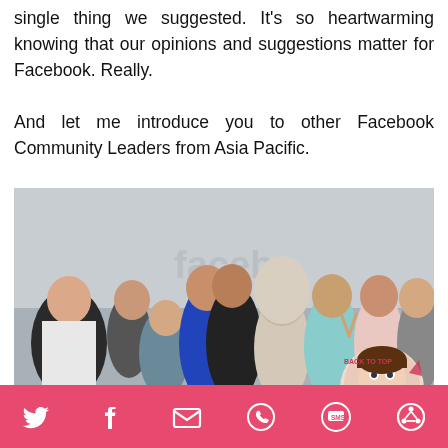Product Executive from our end took notes of every single thing we suggested. It's so heartwarming knowing that our opinions and suggestions matter for Facebook. Really.
And let me introduce you to other Facebook Community Leaders from Asia Pacific.
[Figure (photo): Group photo of Facebook Community Leaders from Asia Pacific, approximately 9 people standing together indoors in front of a Facebook-branded backdrop. An illustrated cartoon character sticker is overlaid in the bottom-right corner with text 'BACK TO TOP'.]
Social share icons: Twitter, Facebook, Email/Envelope, WhatsApp, SMS, Other